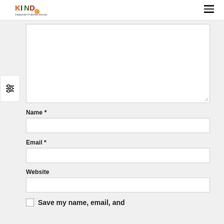[Figure (logo): KIND logo with colorful text and tagline]
[Figure (other): Hamburger menu icon top right]
[Figure (other): Filter/adjust icon on left sidebar]
[Figure (other): Large text input textarea (comment box)]
Name *
[Figure (other): Name text input field]
Email *
[Figure (other): Email text input field]
Website
[Figure (other): Website text input field]
Save my name, email, and